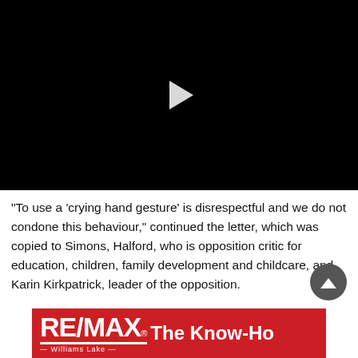[Figure (screenshot): Black video player with a white play button triangle in the center]
“To use a ‘crying hand gesture’ is disrespectful and we do not condone this behaviour,” continued the letter, which was copied to Simons, Halford, who is opposition critic for education, children, family development and childcare, and Karin Kirkpatrick, leader of the opposition.
[Figure (logo): RE/MAX The Know-How Williams Lake advertisement banner in red and white]